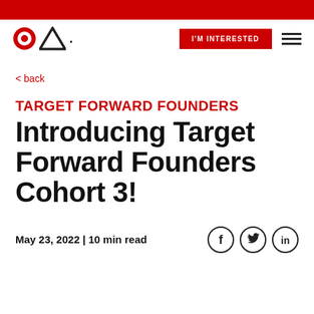Target Forward Founders — navigation bar with logo, I'M INTERESTED button, and hamburger menu
< back
TARGET FORWARD FOUNDERS
Introducing Target Forward Founders Cohort 3!
May 23, 2022 | 10 min read